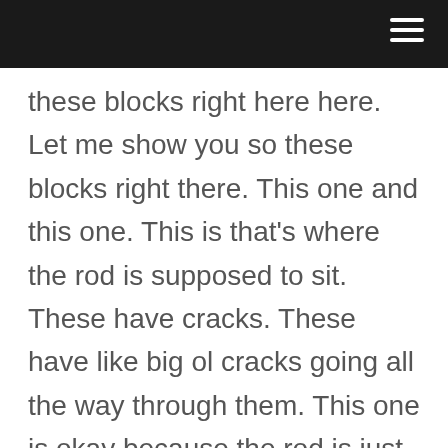these blocks right here here. Let me show you so these blocks right there. This one and this one. This is that's where the rod is supposed to sit. These have cracks. These have like big ol cracks going all the way through them. This one is okay because the rod is just pressing down, but this one when this cracks, the broadest is free to pop out so yeah. I don't think this print is salvageable. Hit hall, lets. Go check this your 10 All right,